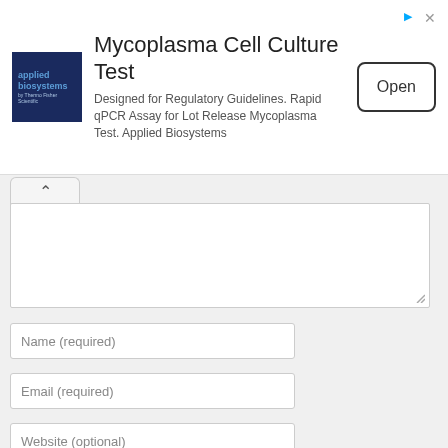[Figure (screenshot): Advertisement banner for Applied Biosystems Mycoplasma Cell Culture Test with logo, description, and Open button]
Mycoplasma Cell Culture Test
Designed for Regulatory Guidelines. Rapid qPCR Assay for Lot Release Mycoplasma Test. Applied Biosystems
Open
Name (required)
Email (required)
Website (optional)
Notify me of follow-up comments by email.
Notify me of new posts by email.
Post Comment